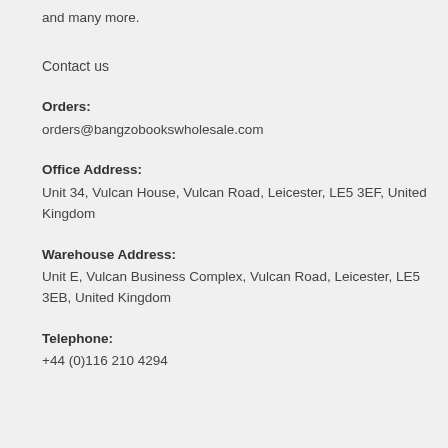and many more.
Contact us
Orders:
orders@bangzobookswholesale.com
Office Address:
Unit 34, Vulcan House, Vulcan Road, Leicester, LE5 3EF, United Kingdom
Warehouse Address:
Unit E, Vulcan Business Complex, Vulcan Road, Leicester, LE5 3EB, United Kingdom
Telephone:
+44 (0)116 210 4294